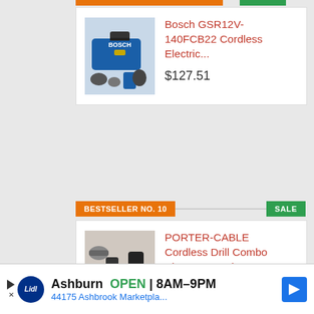[Figure (photo): Bosch GSR12V-140FCB22 cordless drill kit with blue carrying case and accessories]
Bosch GSR12V-140FCB22 Cordless Electric...
$127.51
BESTSELLER NO. 10
SALE
[Figure (photo): PORTER-CABLE cordless drill combo kit power tool with red bag and accessories]
PORTER-CABLE Cordless Drill Combo Kit Power Tool,...
$169.11
Ashburn  OPEN 8AM–9PM  44175 Ashbrook Marketpla...